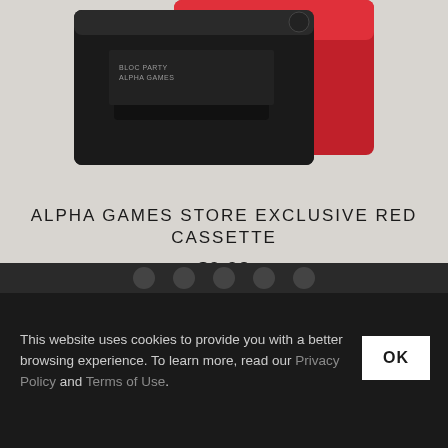[Figure (photo): Product photo of a red and black cassette tape with 'BLOC PARTY ALPHA GAMES' text on the label, shown at an angle against a light grey background.]
ALPHA GAMES STORE EXCLUSIVE RED CASSETTE
$9.98
This website uses cookies to provide you with a better browsing experience. To learn more, read our Privacy Policy and Terms of Use.